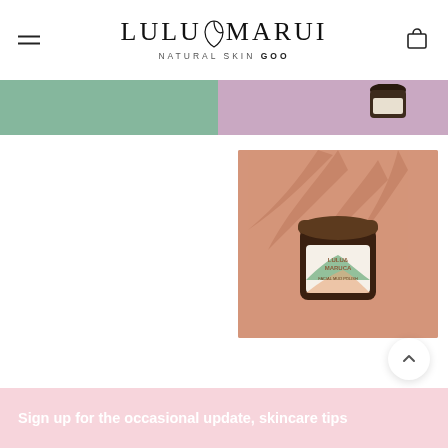[Figure (logo): Lulu & Marui Natural Skin Goods logo with hamburger menu and shopping cart icon]
[Figure (photo): Color banner strip: sage green left half, lavender/mauve right half with partial view of a dark-lidded jar]
[Figure (photo): Product photo of Lulu & Marui facial mud polish jar with tropical leaf label, dark wooden lid, on a peach/coral background with palm leaf shadow]
Sign up for the occasional update, skincare tips